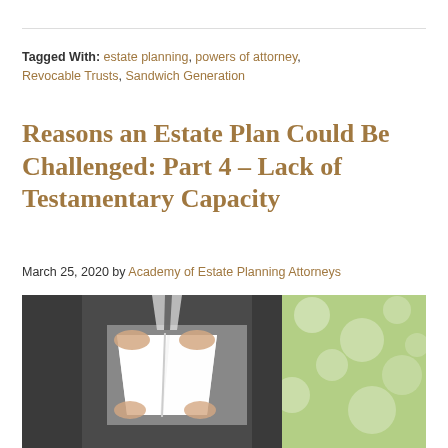Tagged With: estate planning, powers of attorney, Revocable Trusts, Sandwich Generation
Reasons an Estate Plan Could Be Challenged: Part 4 – Lack of Testamentary Capacity
March 25, 2020 by Academy of Estate Planning Attorneys
[Figure (photo): Person in dark suit tearing a white document in half, with a blurred green background on the right side]